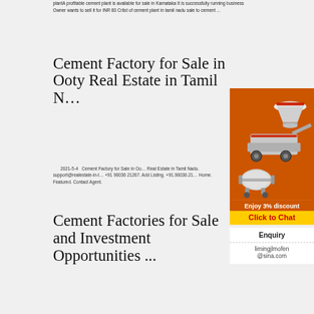plantA profitable cement plant is available for sale in Karnataka It is successfully running business Owner wants to sell it for INR 80 Crlist of cement plant in tamil nadu sale to cement ...
Cement Factory for Sale in Ooty Real Estate in Tamil N…
2021-5-4   Cement Factory for Sale in Ooty Real Estate in Tamil Nadu. support@realestate-in-t… +91 90036 21267. Add Listing. +91.90036.21… Home. Featured. Contact Agent.
[Figure (illustration): Advertisement banner with orange background showing industrial cement/mining equipment (crusher, cone crusher, ball mill). Shows 'Enjoy 3% discount' text and 'Click to Chat' button in yellow.]
Enquiry
limingjlmofen@sina.com
Cement Factories for Sale and Investment Opportunities ...